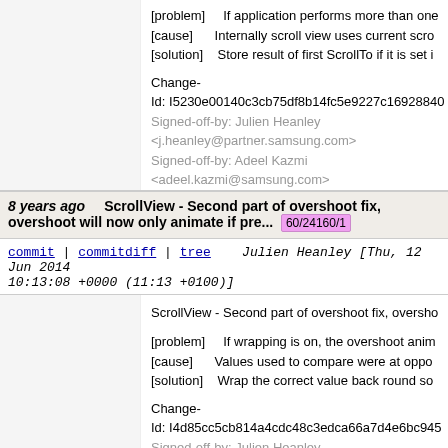[problem]    If application performs more than one...
[cause]      Internally scroll view uses current scro...
[solution]   Store result of first ScrollTo if it is set i...
Change-
Id: I5230e00140c3cb75df8b14fc5e9227c1692840...
Signed-off-by: Julien Heanley <j.heanley@partner.samsung.com>
Signed-off-by: Adeel Kazmi <adeel.kazmi@samsung.com>
8 years ago   ScrollView - Second part of overshoot fix, overshoot will now only animate if pre... 60/24160/1
commit | commitdiff | tree   Julien Heanley [Thu, 12 Jun 2014 10:13:08 +0000 (11:13 +0100)]
ScrollView - Second part of overshoot fix, oversho...
[problem]    If wrapping is on, the overshoot anim...
[cause]      Values used to compare were at oppo...
[solution]   Wrap the correct value back round so...
Change-
Id: I4d85cc5cb814a4cdc48c3edca66a7d4e6bc945...
Signed-off-by: Julien Heanley <j.heanley@partner.samsung.com>
Signed-off-by: Adeel Kazmi <adeel.kazmi@samsung.com>